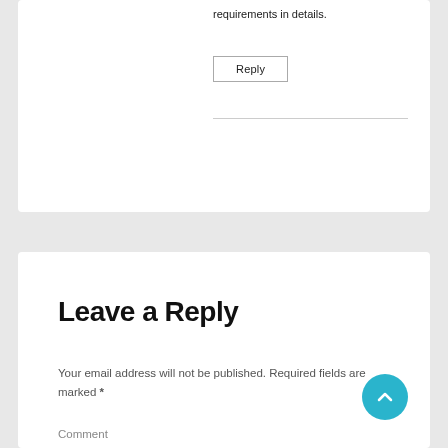requirements in details.
Reply
Leave a Reply
Your email address will not be published. Required fields are marked *
Comment